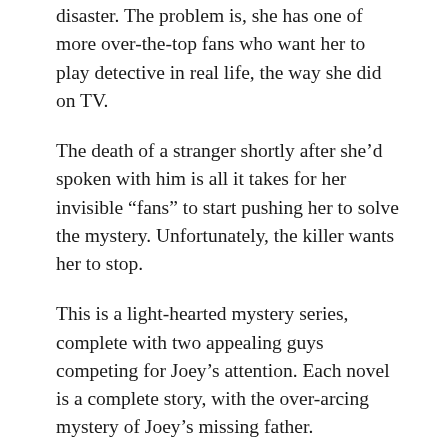disaster. The problem is, she has one of more over-the-top fans who want her to play detective in real life, the way she did on TV.
The death of a stranger shortly after she’d spoken with him is all it takes for her invisible “fans” to start pushing her to solve the mystery. Unfortunately, the killer wants her to stop.
This is a light-hearted mystery series, complete with two appealing guys competing for Joey’s attention. Each novel is a complete story, with the over-arcing mystery of Joey’s missing father.
Joey is a bit of a drama queen, as one might expect of an actress, so she can be a bit tiring at times, but she’s a likeable character. The obstacles she faces make it easy to root for her to succeed.
Christy Barritt is a prolific author whose Christian fiction